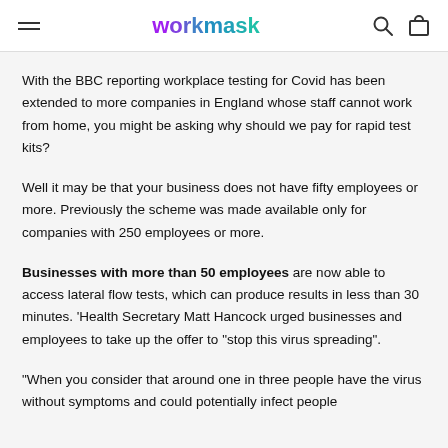workmask
With the BBC reporting workplace testing for Covid has been extended to more companies in England whose staff cannot work from home, you might be asking why should we pay for rapid test kits?
Well it may be that your business does not have fifty employees or more. Previously the scheme was made available only for companies with 250 employees or more.
Businesses with more than 50 employees are now able to access lateral flow tests, which can produce results in less than 30 minutes. 'Health Secretary Matt Hancock urged businesses and employees to take up the offer to "stop this virus spreading".
"When you consider that around one in three people have the virus without symptoms and could potentially infect people